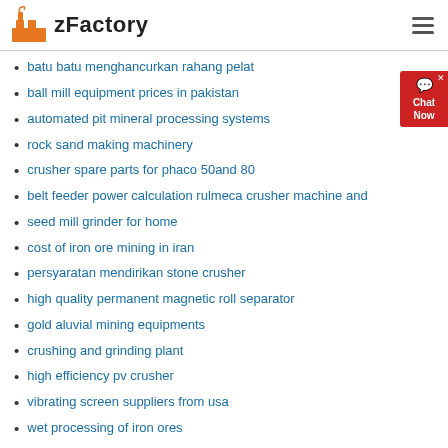zFactory
batu batu menghancurkan rahang pelat
ball mill equipment prices in pakistan
automated pit mineral processing systems
rock sand making machinery
crusher spare parts for phaco 50and 80
belt feeder power calculation rulmeca crusher machine and
seed mill grinder for home
cost of iron ore mining in iran
persyaratan mendirikan stone crusher
high quality permanent magnetic roll separator
gold aluvial mining equipments
crushing and grinding plant
high efficiency pv crusher
vibrating screen suppliers from usa
wet processing of iron ores
small aluminum iron ore induction furnace for sale jzsdh
quartz feeding equipment for sale
mill springs pulaski county ky cannon ball